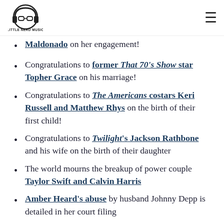Little Nerd Music logo + hamburger menu
Maldonado on her engagement!
Congratulations to former That 70's Show star Topher Grace on his marriage!
Congratulations to The Americans costars Keri Russell and Matthew Rhys on the birth of their first child!
Congratulations to Twilight's Jackson Rathbone and his wife on the birth of their daughter
The world mourns the breakup of power couple Taylor Swift and Calvin Harris
Amber Heard's abuse by husband Johnny Depp is detailed in her court filing
Glee's Mark Salling has been formally charged